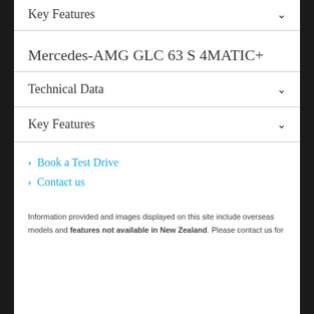Key Features
Mercedes-AMG GLC 63 S 4MATIC+
Technical Data
Key Features
Book a Test Drive
Contact us
Information provided and images displayed on this site include overseas models and features not available in New Zealand. Please contact us for